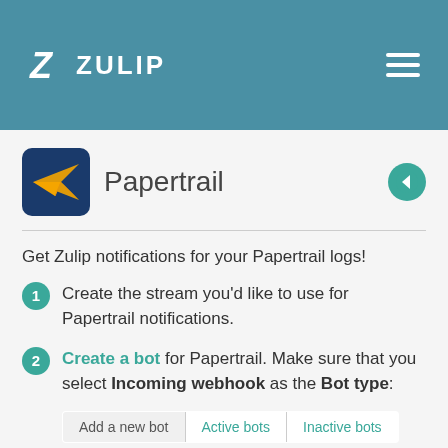[Figure (logo): Zulip logo: stylized Z letter followed by ZULIP text in white on teal header, with hamburger menu icon on right]
[Figure (logo): Papertrail integration icon: orange paper airplane on dark blue rounded square background]
Papertrail
Get Zulip notifications for your Papertrail logs!
Create the stream you'd like to use for Papertrail notifications.
Create a bot for Papertrail. Make sure that you select Incoming webhook as the Bot type:
| Add a new bot | Active bots | Inactive bots |
| --- | --- | --- |